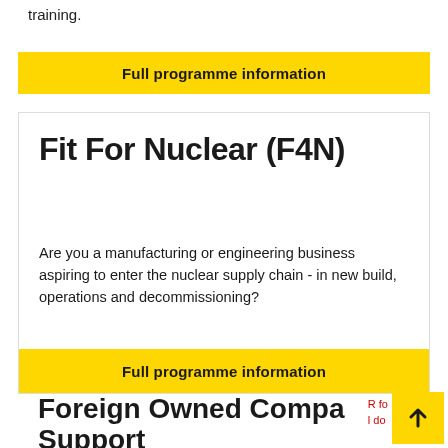training.
Full programme information
Fit For Nuclear (F4N)
Are you a manufacturing or engineering business aspiring to enter the nuclear supply chain - in new build, operations and decommissioning?
Full programme information
Foreign Owned Company Support